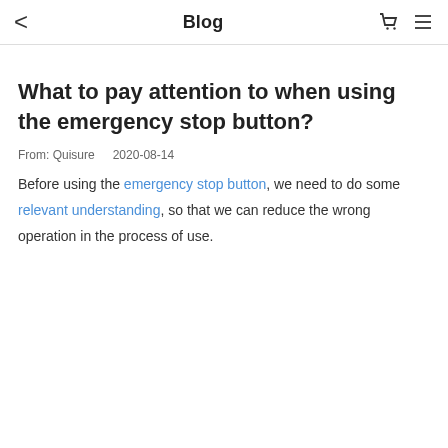Blog
What to pay attention to when using the emergency stop button?
From: Quisure    2020-08-14
Before using the emergency stop button, we need to do some relevant understanding, so that we can reduce the wrong operation in the process of use.